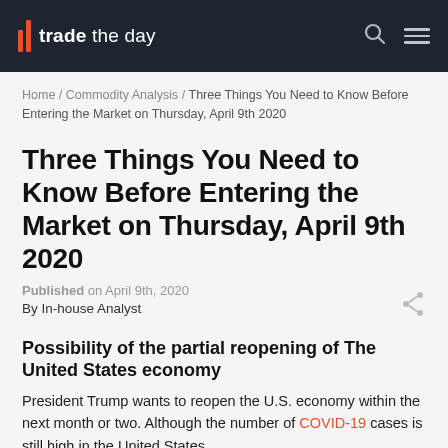trade the day
Home / Commodity Analysis / Three Things You Need to Know Before Entering the Market on Thursday, April 9th 2020
Three Things You Need to Know Before Entering the Market on Thursday, April 9th 2020
Published on April 9th, 2020
By In-house Analyst
Possibility of the partial reopening of The United States economy
President Trump wants to reopen the U.S. economy within the next month or two. Although the number of COVID-19 cases is still high in the United States,